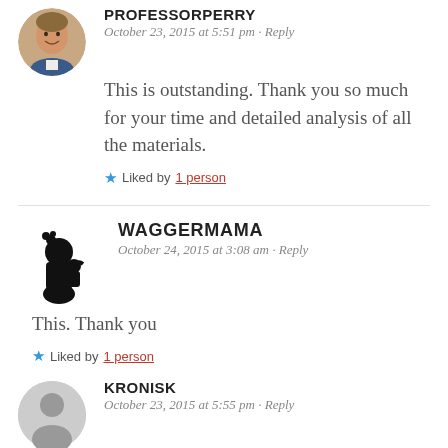[Figure (photo): Avatar photo of PROFESSORPERRY - man smiling, circular crop]
PROFESSORPERRY
October 23, 2015 at 5:51 pm · Reply
This is outstanding. Thank you so much for your time and detailed analysis of all the materials.
Liked by 1 person
[Figure (illustration): Waggermama avatar - black silhouette of woman with child]
WAGGERMAMA
October 24, 2015 at 3:08 am · Reply
This. Thank you
Liked by 1 person
[Figure (illustration): Kronisk avatar - gray person silhouette placeholder]
KRONISK
October 23, 2015 at 5:55 pm · Reply